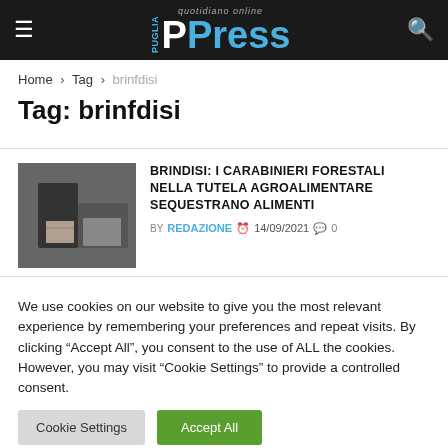PPress - quotidiano online
Home > Tag > brinfdisi
Tag: brinfdisi
BRINDISI: I CARABINIERI FORESTALI NELLA TUTELA AGROALIMENTARE SEQUESTRANO ALIMENTI
BY REDAZIONE  14/09/2021  0
We use cookies on our website to give you the most relevant experience by remembering your preferences and repeat visits. By clicking "Accept All", you consent to the use of ALL the cookies. However, you may visit "Cookie Settings" to provide a controlled consent.